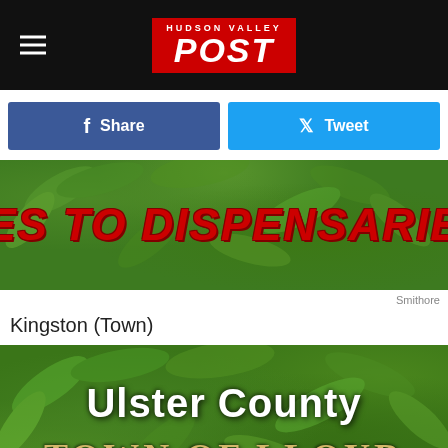HUDSON VALLEY POST
Share
Tweet
[Figure (photo): Cannabis plant leaves background with text overlay 'YES TO DISPENSARIES' in bold red italic letters]
Smithore
Kingston (Town)
[Figure (photo): Cannabis plant leaves background with overlaid text 'Ulster County' in white bold and 'TOWN OF LLOYD' in gold/tan serif letters]